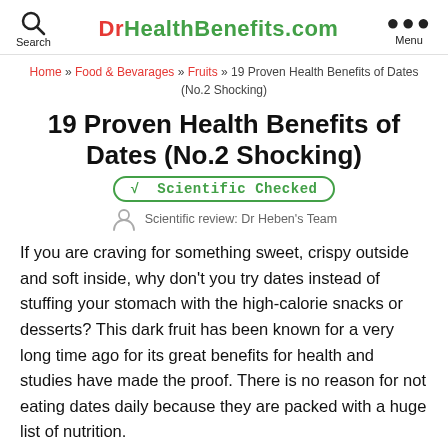DrHealthBenefits.com | Search | Menu
Home » Food & Bevarages » Fruits » 19 Proven Health Benefits of Dates (No.2 Shocking)
19 Proven Health Benefits of Dates (No.2 Shocking)
√ Scientific Checked
Scientific review: Dr Heben's Team
If you are craving for something sweet, crispy outside and soft inside, why don't you try dates instead of stuffing your stomach with the high-calorie snacks or desserts? This dark fruit has been known for a very long time ago for its great benefits for health and studies have made the proof. There is no reason for not eating dates daily because they are packed with a huge list of nutrition.